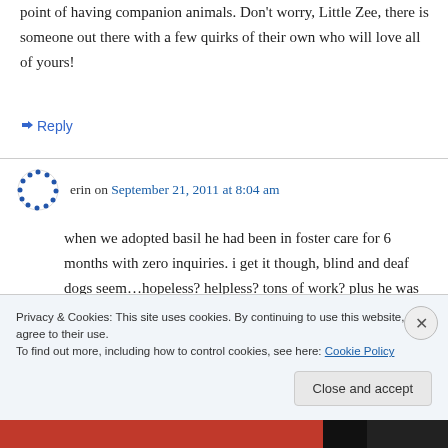point of having companion animals. Don't worry, Little Zee, there is someone out there with a few quirks of their own who will love all of yours!
↪ Reply
erin on September 21, 2011 at 8:04 am
when we adopted basil he had been in foster care for 6 months with zero inquiries. i get it though, blind and deaf dogs seem…hopeless? helpless? tons of work? plus he was shaved and
Privacy & Cookies: This site uses cookies. By continuing to use this website, you agree to their use.
To find out more, including how to control cookies, see here: Cookie Policy
Close and accept